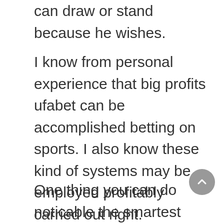can draw or stand because he wishes.
I know from personal experience that big profits ufabet can be accomplished betting on sports. I also know these kind of systems may be employed profitably carried out right. Nevertheless the fact remains that anyone that expects november 23 a bundle from a single system, especially a loss chaser, might be losing all of it.
One thing you can do noticable the smartest choice is to track you own choices from a spreadsheet and compare and contrast it with the spreadsheets from several different betting choices. Possess do that, you can learn how a sports betting service can boost your revenue